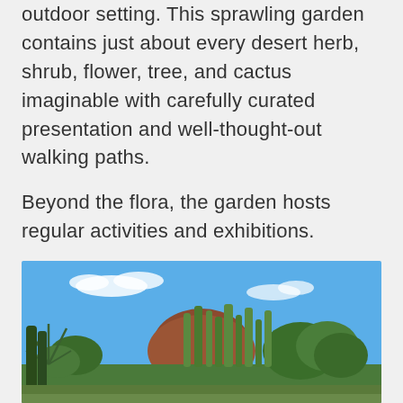outdoor setting. This sprawling garden contains just about every desert herb, shrub, flower, tree, and cactus imaginable with carefully curated presentation and well-thought-out walking paths.

Beyond the flora, the garden hosts regular activities and exhibitions.
[Figure (photo): Outdoor desert botanical garden scene with tall cacti (saguaro and other columnar cacti), a large red/brown rock formation in the background, green shrub trees, and blue sky with white clouds.]